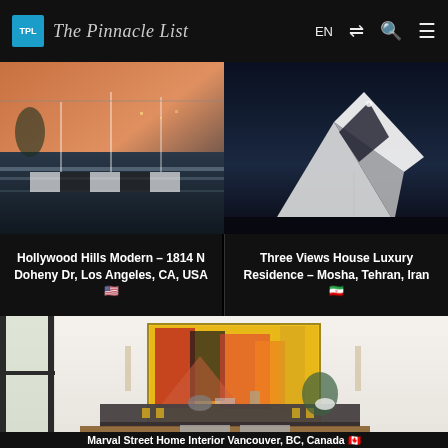The Pinnacle List — EN navigation header
[Figure (photo): Interior of Hollywood Hills Modern home with pool and floor-to-ceiling windows at sunset]
[Figure (photo): Three Views House Luxury Residence exterior at night, angular white structure, Mosha, Tehran, Iran]
Hollywood Hills Modern – 1814 N Doheny Dr, Los Angeles, CA, USA 🇺🇸
Three Views House Luxury Residence – Mosha, Tehran, Iran 🇮🇷
[Figure (photo): Marval Street Home Interior dining area with colorful abstract painting, Vancouver, BC, Canada]
Marval Street Home Interior Vancouver, BC, Canada 🇨🇦